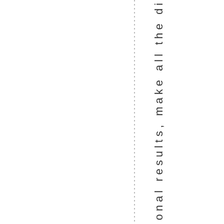nizational results, make all the di